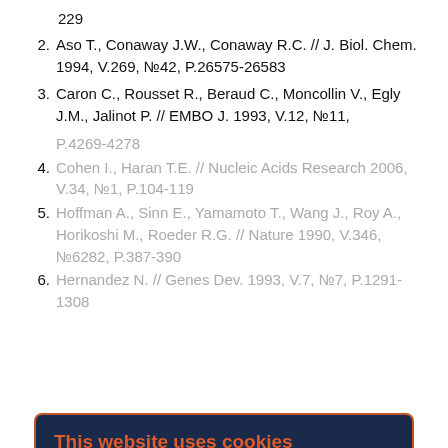229
2. Aso T., Conaway J.W., Conaway R.C. // J. Biol. Chem. 1994, V.269, №42, P.26575-26583
3. Caron C., Rousset R., Beraud C., Moncollin V., Egly J.M., Jalinot P. // EMBO J. 1993, V.12, №11, P.4269-4278
4. [partially obscured] Cohen I., Haran T.E. // Nucleic Acids Research 2006, V.34, №1, P.104-119
5. Hoffman A., Sinn E., Yamamoto T., Wang J., Roy A., Horikoshi M., Roeder R.G. // Nature 1990, V.346, №6282, P.387-390
6. Hernandez N. // Genes Dev. 1993, V.7, №7, P.1291-1308
7. Wu J., Parkhurst K.M., Powell R.M., Brenowitz M., Parkhurst L.J. // J. Biol. Chem. 2001, V.276, №18, P.14614-14622
8. Cang Y., Auble D.T., Prelich G. // EMBO J. 1999,
This website uses cookies
You consent to our cookies if you continue to use our website.
About Cookies
OK